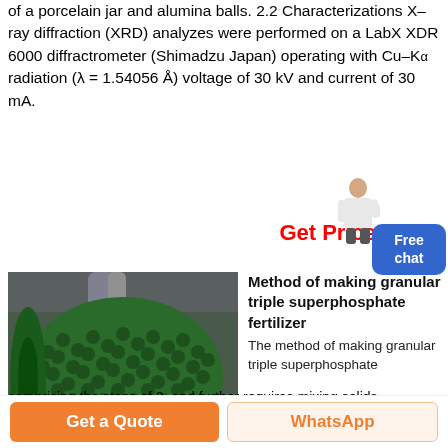of a porcelain jar and alumina balls. 2.2 Characterizations X-ray diffraction (XRD) analyzes were performed on a LabX XDR 6000 diffractrometer (Shimadzu Japan) operating with Cu-Kα radiation (λ = 1.54056 Å) voltage of 30 kV and current of 30 mA.
[Figure (photo): Large industrial ball mill machine, green cylindrical body with yellow scaffolding structure, inside an industrial facility]
Method of making granular triple superphosphate fertilizer
The method of making granular triple superphosphate comprising the steps of 2. and further requires mixing solids
Get Price
Free chat
Get a Quote
WhatsApp